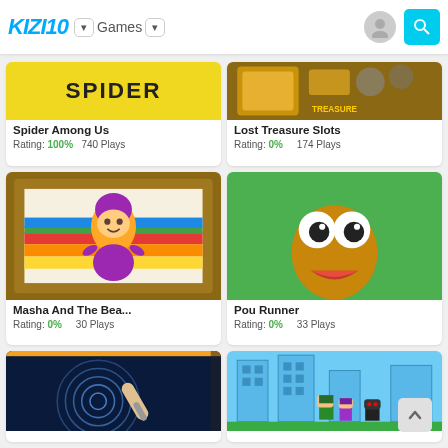KIZI10 | Games
[Figure (screenshot): Spider Among Us game thumbnail - yellow background with SPIDER text]
Spider Among Us
Rating: 100%    740 Plays
[Figure (screenshot): Lost Treasure Slots game thumbnail - treasure chest with cats]
Lost Treasure Slots
Rating: 0%    174 Plays
[Figure (screenshot): Masha And The Bear coloring game thumbnail - cartoon girl with rainbow stripes in frame]
Masha And The Bea...
Rating: 0%    30 Plays
[Figure (screenshot): Pou Runner game thumbnail - brown Pou character on green background]
Pou Runner
Rating: 0%    33 Plays
[Figure (screenshot): Fingerprint game thumbnail - fingerprint spiral on dark blue background]
[Figure (screenshot): Pixel platformer game thumbnail - pixel art characters in city]